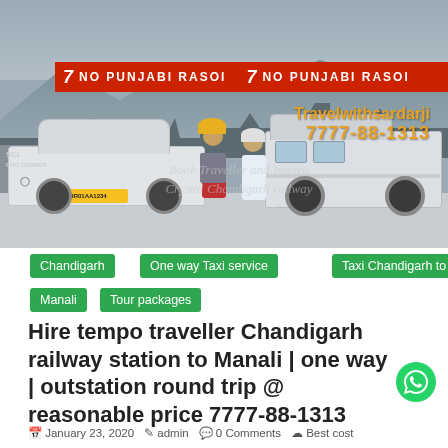[Figure (photo): Two men standing in front of vehicles (a Toyota Innova car on the left and a tempo traveller van on the right) at a location with shops and banners reading 'NO PUNJABI RASOI'. The photo has watermark text 'Travelwithsardarji' and '7777-88-1313' overlaid in orange, and faint watermark text 'Book Traveller and Innova Crystal Chandigarh railway station to Manali'.]
Chandigarh
One way Taxi service
Taxi Chandigarh to
Manali
Tour packages
Hire tempo traveller Chandigarh railway station to Manali | one way | outstation round trip @ reasonable price 7777-88-1313
January 23, 2020   admin   0 Comments   Best cost